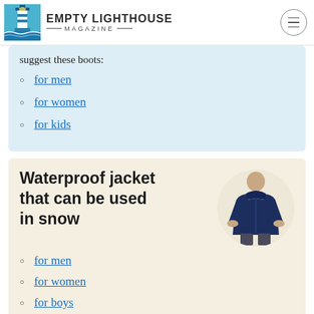EMPTY LIGHTHOUSE MAGAZINE
suggest these boots:
for men
for women
for kids
Waterproof jacket that can be used in snow
[Figure (photo): Man wearing a navy blue waterproof hooded jacket]
for men
for women
for boys
for girls